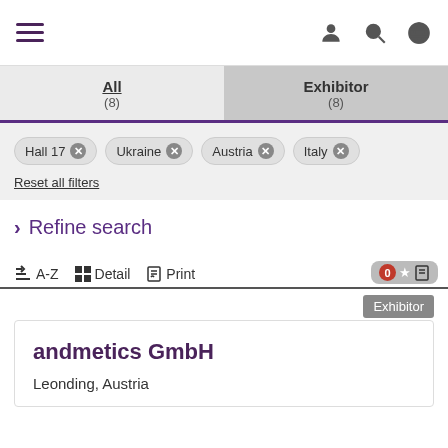[Figure (screenshot): Navigation bar with hamburger menu icon on the left and user/search/globe icons on the right]
All (8)
Exhibitor (8)
Hall 17 × Ukraine × Austria × Italy ×
Reset all filters
> Refine search
A-Z  Detail  Print
Exhibitor
andmetics GmbH
Leonding, Austria